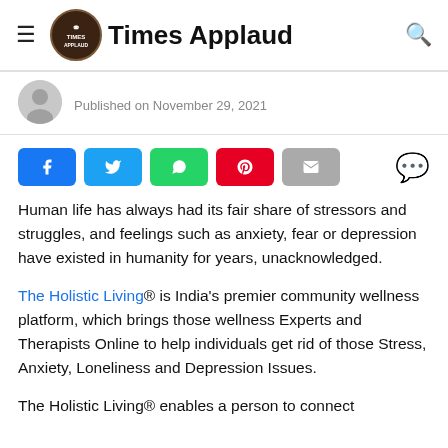Times Applaud
Published on November 29, 2021
[Figure (other): Social sharing buttons: Facebook, Twitter, WhatsApp, Pinterest, Email, and a comment icon]
Human life has always had its fair share of stressors and struggles, and feelings such as anxiety, fear or depression have existed in humanity for years, unacknowledged.
The Holistic Living® is India's premier community wellness platform, which brings those wellness Experts and Therapists Online to help individuals get rid of those Stress, Anxiety, Loneliness and Depression Issues.
The Holistic Living® enables a person to connect